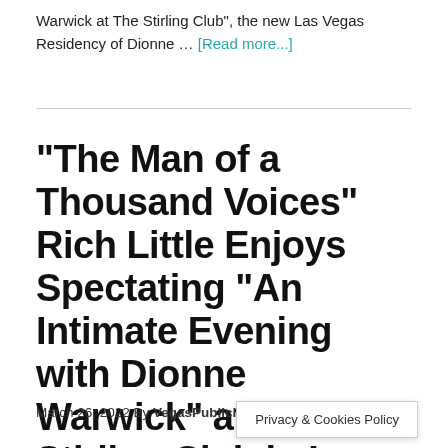Warwick at The Stirling Club", the new Las Vegas Residency of Dionne … [Read more...]
“The Man of a Thousand Voices” Rich Little Enjoys Spectating “An Intimate Evening with Dionne Warwick” at the Stirling Club in Las Vegas
March 26, 2022 By VegasPublicity
Privacy & Cookies Policy